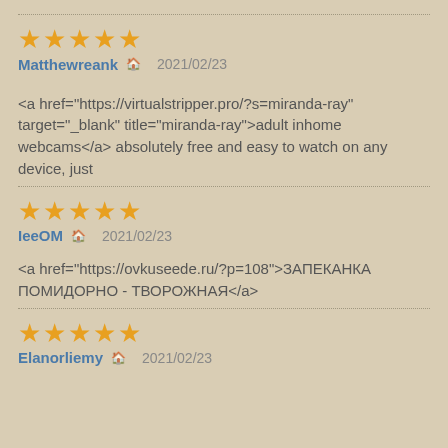★★★★★
Matthewreank 🏠 2021/02/23
<a href="https://virtualstripper.pro/?s=miranda-ray" target="_blank" title="miranda-ray">adult inhome webcams</a> absolutely free and easy to watch on any device, just
★★★★★
IeeOM 🏠 2021/02/23
<a href="https://ovkuseede.ru/?p=108">ЗАПЕКАНКА ПОМИДОРНО - ТВОРОЖНАЯ</a>
★★★★★
Elanorliemy 🏠 2021/02/23